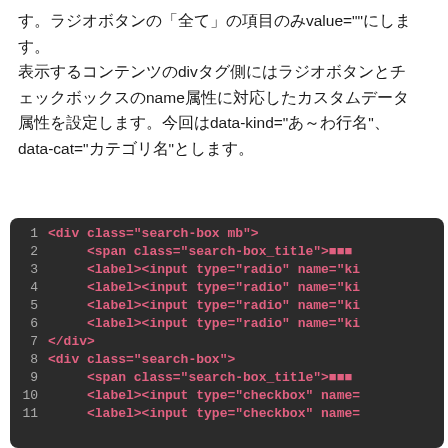す。ラジオボタンの「全て」の項目のみvalue=""にします。
表示するコンテンツのdivタグ側にはラジオボタンとチェックボックスのname属性に対応したカスタムデータ属性を設定します。今回はdata-kind="あ～わ行名"、data-cat="カテゴリ名"とします。
[Figure (screenshot): Dark-themed code editor screenshot showing HTML code with line numbers 1-11. Lines show div elements with class search-box, span elements with class search-box_title, label/input elements with type radio and checkbox.]